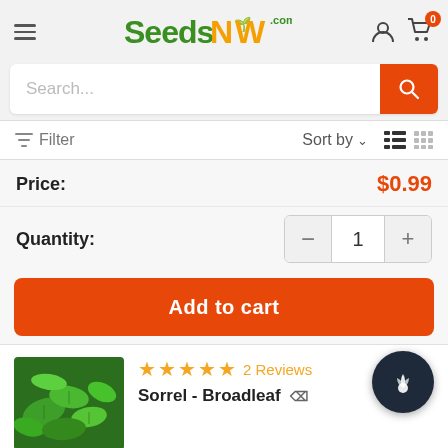SeedsNow.com – Navigation header with hamburger menu, logo, user icon, and cart (0 items)
Search...
Filter   Sort by   (list and grid view icons)
Price: $0.99
Quantity: 1
Add to cart
[Figure (photo): Green broadleaf sorrel plant leaves, close-up photo]
★★★★★ 2 Reviews
Sorrel - Broadleaf